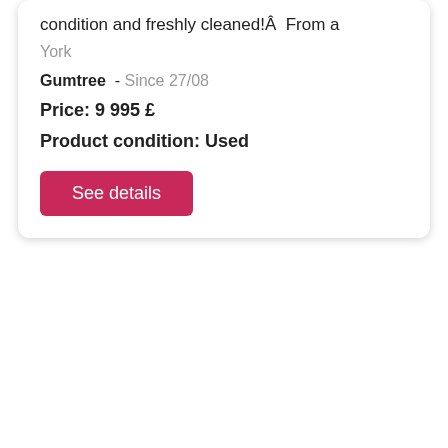condition and freshly cleaned!Â  From a
York
Gumtree  - Since 27/08
Price: 9 995 £
Product condition: Used
See details